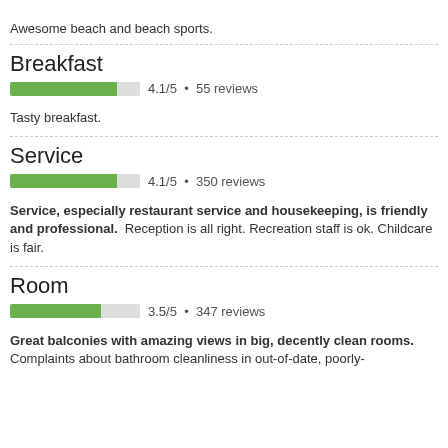Awesome beach and beach sports.
Breakfast
[Figure (bar-chart): Breakfast rating]
Tasty breakfast.
Service
[Figure (bar-chart): Service rating]
Service, especially restaurant service and housekeeping, is friendly and professional. Reception is all right. Recreation staff is ok. Childcare is fair.
Room
[Figure (bar-chart): Room rating]
Great balconies with amazing views in big, decently clean rooms. Complaints about bathroom cleanliness in out-of-date, poorly-